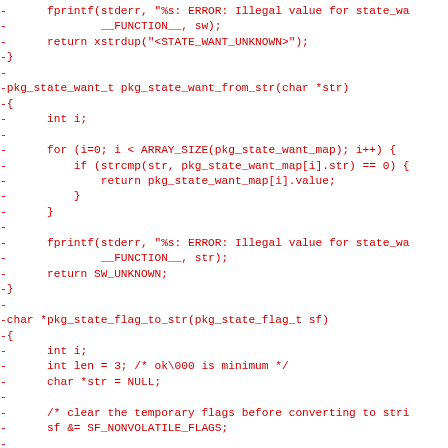[Figure (other): Code diff showing removed lines (prefixed with '-') in red monospace font. Contains C code for pkg_state_want functions and beginning of pkg_state_flag_to_str function.]